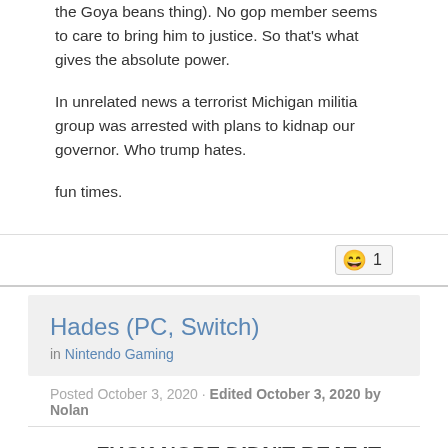the Goya beans thing). No gop member seems to care to bring him to justice. So that's what gives the absolute power.
In unrelated news a terrorist Michigan militia group was arrested with plans to kidnap our governor. Who trump hates.
fun times.
Hades (PC, Switch)
in Nintendo Gaming
Posted October 3, 2020 · Edited October 3, 2020 by Nolan
BEAT IT! FUCK NOPE DIDN'T BEAT IT.